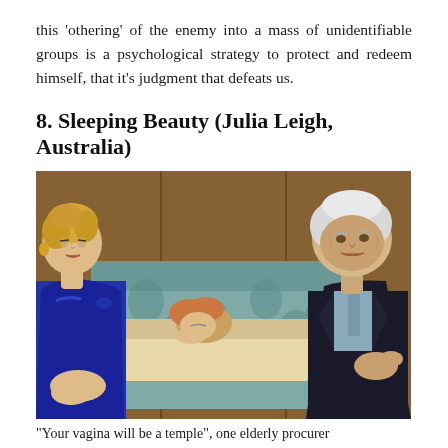this 'othering' of the enemy into a mass of unidentifiable groups is a psychological strategy to protect and redeem himself, that it's judgment that defeats us.
8. Sleeping Beauty (Julia Leigh, Australia)
[Figure (photo): A film still from Sleeping Beauty showing a woman in a blue dress seated on the left, an elderly white-haired man in a dark suit seated on the right, and a young woman sleeping between them on a floral couch.]
"Your vagina will be a temple", one elderly procurer